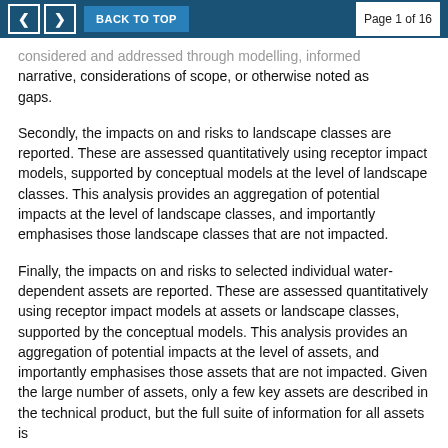< > BACK TO TOP   Page 1 of 16
considered and addressed through modelling, informed narrative, considerations of scope, or otherwise noted as gaps.
Secondly, the impacts on and risks to landscape classes are reported. These are assessed quantitatively using receptor impact models, supported by conceptual models at the level of landscape classes. This analysis provides an aggregation of potential impacts at the level of landscape classes, and importantly emphasises those landscape classes that are not impacted.
Finally, the impacts on and risks to selected individual water-dependent assets are reported. These are assessed quantitatively using receptor impact models at assets or landscape classes, supported by the conceptual models. This analysis provides an aggregation of potential impacts at the level of assets, and importantly emphasises those assets that are not impacted. Given the large number of assets, only a few key assets are described in the technical product, but the full suite of information for all assets is